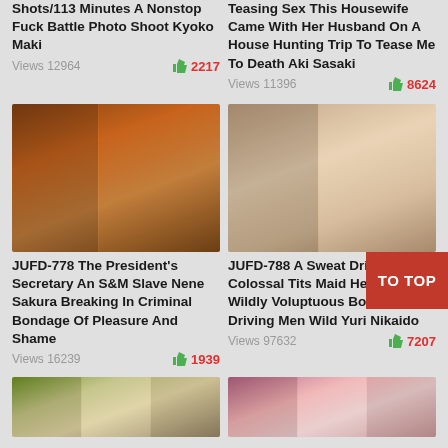Shots/113 Minutes A Nonstop Fuck Battle Photo Shoot Kyoko Maki
Views 12964   2217
Teasing Sex This Housewife Came With Her Husband On A House Hunting Trip To Tease Me To Death Aki Sasaki
Views 11396   8624
[Figure (photo): DVD cover collage for JUFD-778 left thumbnail]
JUFD-778 The President's Secretary An S&M Slave Nene Sakura Breaking In Criminal Bondage Of Pleasure And Shame
Views 16239   1939
[Figure (photo): DVD cover collage for JUFD-788 right thumbnail]
JUFD-788 A Sweat Dripping Colossal Tits Maid Her Wet And Wildly Voluptuous Body Is Driving Men Wild Yuri Nikaido
Views 97632   7207
[Figure (photo): Bottom left partial thumbnail]
[Figure (photo): Bottom right partial thumbnail]